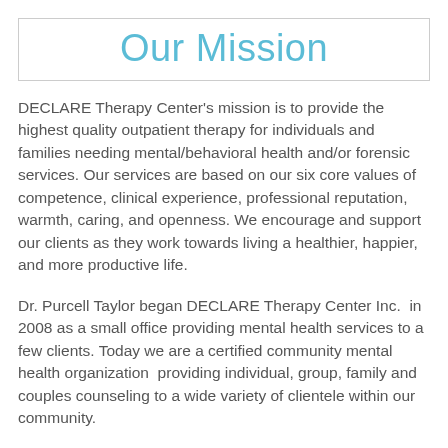Our Mission
DECLARE Therapy Center's mission is to provide the highest quality outpatient therapy for individuals and families needing mental/behavioral health and/or forensic services. Our services are based on our six core values of competence, clinical experience, professional reputation, warmth, caring, and openness. We encourage and support our clients as they work towards living a healthier, happier, and more productive life.
Dr. Purcell Taylor began DECLARE Therapy Center Inc.  in 2008 as a small office providing mental health services to a few clients. Today we are a certified community mental health organization  providing individual, group, family and couples counseling to a wide variety of clientele within our community.
DECLARE Therapy Center provides a supportive environment where children, adolescents,  and adults are able to focus on